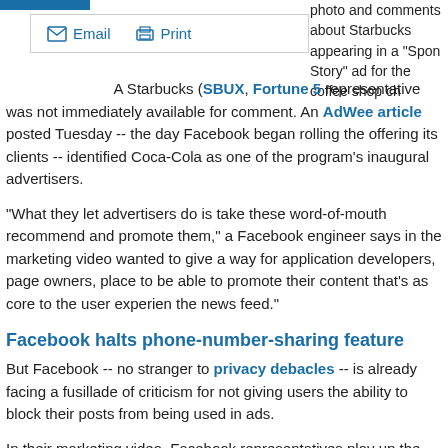[Figure (other): Blue top bar graphic element]
Email  Print (toolbar buttons)
photo and comments about Starbucks appearing in a "Sponsored Story" ad for the coffee shop ch...
A Starbucks (SBUX, Fortune 5... representative was not immediately available for comment. An AdWeek article posted Tuesday -- the day Facebook began rolling the offering its clients -- identified Coca-Cola as one of the program's inaugural advertisers.
"What they let advertisers do is take these word-of-mouth recommendations and promote them," a Facebook engineer says in the marketing video... wanted to give a way for application developers, page owners, place owners to be able to promote their content that's as core to the user experience as the news feed."
Facebook halts phone-number-sharing feature
But Facebook -- no stranger to privacy debacles -- is already facing a fusillade of criticism for not giving users the ability to block their posts from being used in ads.
In their marketing video, Facebook representatives play up the fact tha...